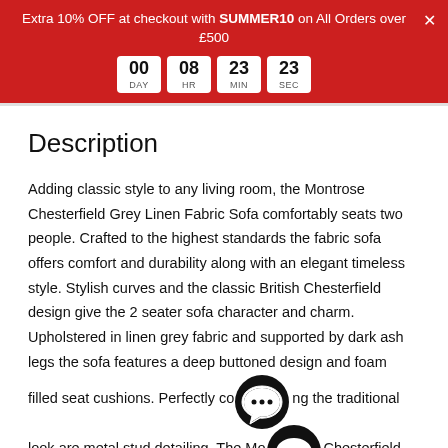Extra 10% OFF at checkout with SUMMER10 on All Orders over £500
Description
Adding classic style to any living room, the Montrose Chesterfield Grey Linen Fabric Sofa comfortably seats two people. Crafted to the highest standards the fabric sofa offers comfort and durability along with an elegant timeless style. Stylish curves and the classic British Chesterfield design give the 2 seater sofa character and charm. Upholstered in linen grey fabric and supported by dark ash legs the sofa features a deep buttoned design and foam filled seat cushions. Perfectly complementing the traditional look are metal stud detailing. The Montrose Chesterfield Grey Linen Fabric 2 Seater Sofa is complete with two free cushions.